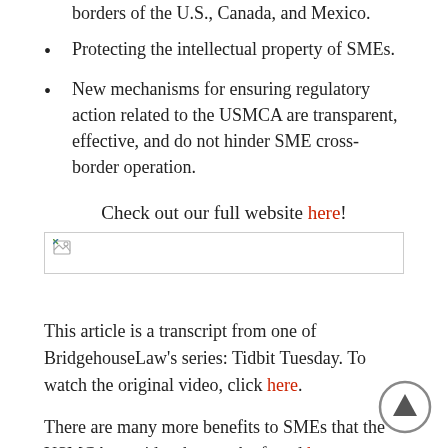borders of the U.S., Canada, and Mexico.
Protecting the intellectual property of SMEs.
New mechanisms for ensuring regulatory action related to the USMCA are transparent, effective, and do not hinder SME cross-border operation.
Check out our full website here!
[Figure (other): Broken image placeholder / banner image for BridgehouseLaw website]
This article is a transcript from one of BridgehouseLaw's series: Tidbit Tuesday. To watch the original video, click here.
There are many more benefits to SMEs that the USMCA provides that can be found here.
For more blog posts, click here.